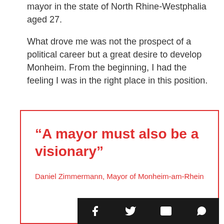mayor in the state of North Rhine-Westphalia aged 27.
What drove me was not the prospect of a political career but a great desire to develop Monheim. From the beginning, I had the feeling I was in the right place in this position.
“A mayor must also be a visionary”
Daniel Zimmermann, Mayor of Monheim-am-Rhein